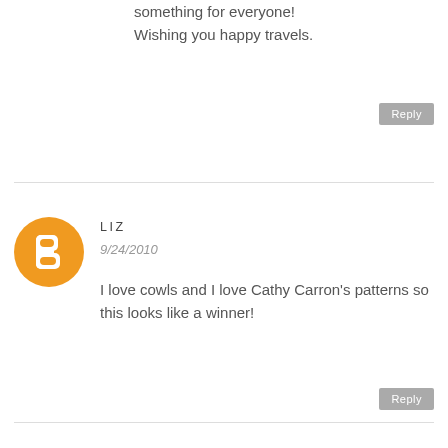something for everyone! Wishing you happy travels.
Reply
LIZ
9/24/2010
I love cowls and I love Cathy Carron's patterns so this looks like a winner!
Reply
CKSKNITTER
9/24/2010